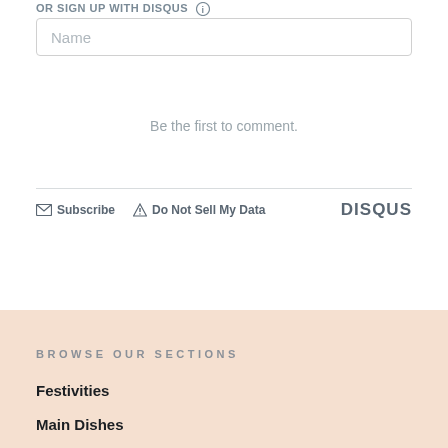OR SIGN UP WITH DISQUS
Name
Be the first to comment.
Subscribe   Do Not Sell My Data   DISQUS
BROWSE OUR SECTIONS
Festivities
Main Dishes